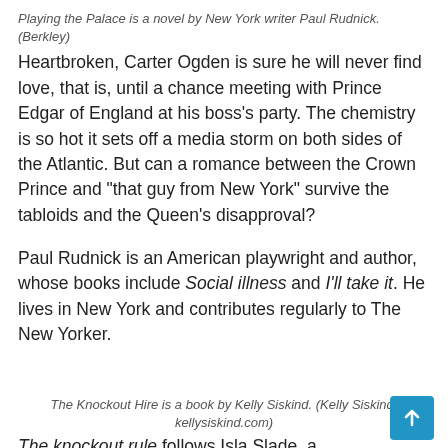Playing the Palace is a novel by New York writer Paul Rudnick. (Berkley)
Heartbroken, Carter Ogden is sure he will never find love, that is, until a chance meeting with Prince Edgar of England at his boss's party. The chemistry is so hot it sets off a media storm on both sides of the Atlantic. But can a romance between the Crown Prince and “that guy from New York” survive the tabloids and the Queen’s disapproval?
Paul Rudnick is an American playwright and author, whose books include Social illness and I’ll take it. He lives in New York and contributes regularly to The New Yorker.
The Knockout Hire is a book by Kelly Siskind. (Kelly Siskind, kellysiskind.com)
The knockout rule follows Isla Slade, a physiotherapist who helps athletes recover from injuries. As a boxer’s daughter, Isla’s only rule is that she won’t treat boxers; she is not interested in reliving bloody noses, cracked ribs and hospit...